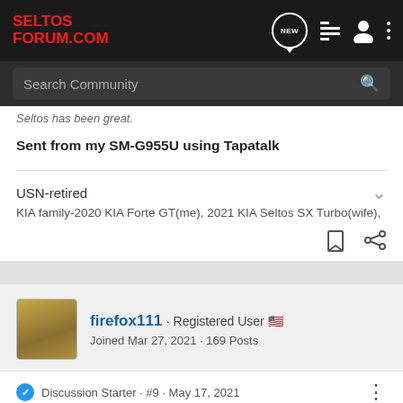SELTOS FORUM.COM
Search Community
Sent from my SM-G955U using Tapatalk
USN-retired
KIA family-2020 KIA Forte GT(me), 2021 KIA Seltos SX Turbo(wife),
firefox111 · Registered User
Joined Mar 27, 2021 · 169 Posts
Discussion Starter · #9 · May 17, 2021